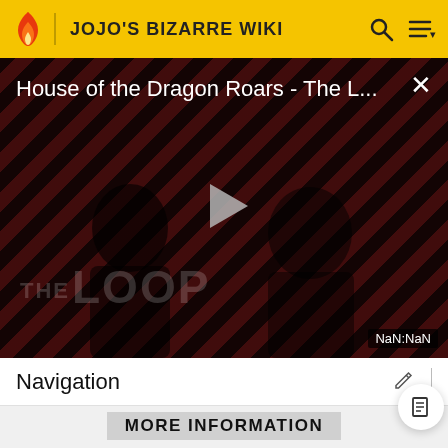JOJO'S BIZARRE WIKI
[Figure (screenshot): Video player thumbnail showing 'House of the Dragon Roars - The L...' with diagonal red/black striped background, two dark figures, play button in center, 'THE LOOP' watermark text, and 'NaN:NaN' duration badge in lower right]
Navigation
MORE INFORMATION